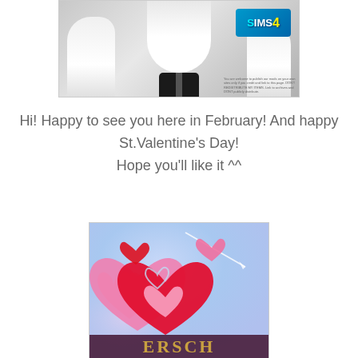[Figure (screenshot): Sims 4 screenshot showing a character with white hair and dark collar, with the Sims 4 logo in the upper right corner]
Hi! Happy to see you here in February! And happy St.Valentine's Day!
Hope you'll like it ^^
[Figure (illustration): Valentine's Day themed illustration with pink and red hearts of various sizes on a light blue background. Text at bottom reads 'ERSCH' in gold letters on a dark purple banner.]